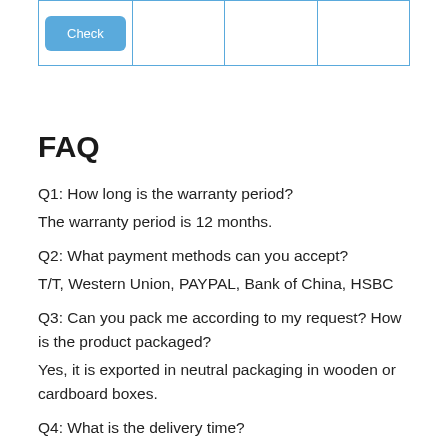| Check |  |  |  |
FAQ
Q1: How long is the warranty period?
The warranty period is 12 months.
Q2: What payment methods can you accept?
T/T, Western Union, PAYPAL, Bank of China, HSBC
Q3: Can you pack me according to my request? How is the product packaged?
Yes, it is exported in neutral packaging in wooden or cardboard boxes.
Q4: What is the delivery time?
1) Spot: usually 3-5 days. It can be as fast as 24